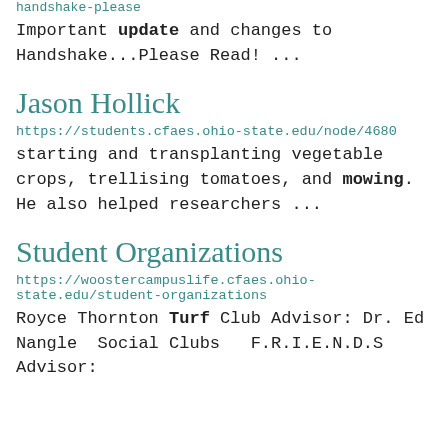handshake-please
Important update and changes to Handshake...Please Read! ...
Jason Hollick
https://students.cfaes.ohio-state.edu/node/4680
starting and transplanting vegetable crops, trellising tomatoes, and mowing. He also helped researchers ...
Student Organizations
https://woostercampuslife.cfaes.ohio-state.edu/student-organizations
Royce Thornton Turf Club Advisor: Dr. Ed Nangle  Social Clubs   F.R.I.E.N.D.S Advisor: